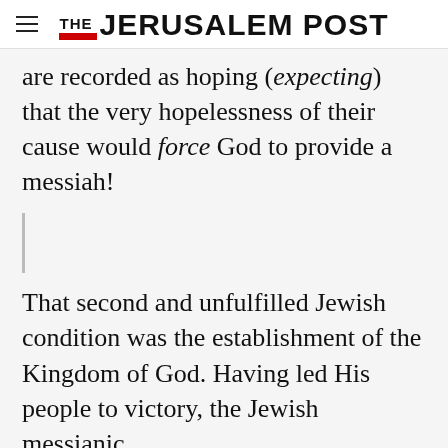THE JERUSALEM POST
are recorded as hoping (expecting) that the very hopelessness of their cause would force God to provide a messiah!
That second and unfulfilled Jewish condition was the establishment of the Kingdom of God. Having led His people to victory, the Jewish messianic
Advertisement